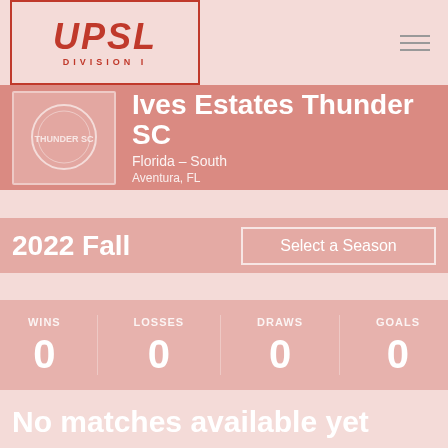[Figure (logo): UPSL Division I logo with red border and italic text]
Ives Estates Thunder SC
Florida – South
Aventura, FL
2022 Fall
Select a Season
WINS
0
LOSSES
0
DRAWS
0
GOALS
0
No matches available yet